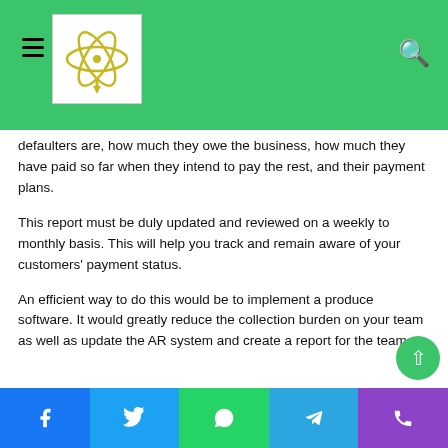[Figure (logo): Website header with green background, hamburger menu, atom logo in white box, and search icon]
defaulters are, how much they owe the business, how much they have paid so far when they intend to pay the rest, and their payment plans.
This report must be duly updated and reviewed on a weekly to monthly basis. This will help you track and remain aware of your customers' payment status.
An efficient way to do this would be to implement a produce software. It would greatly reduce the collection burden on your team as well as update the AR system and create a report for the team.
[Figure (other): Bottom social sharing bar with Facebook, Twitter, WhatsApp, Telegram, and Phone buttons]